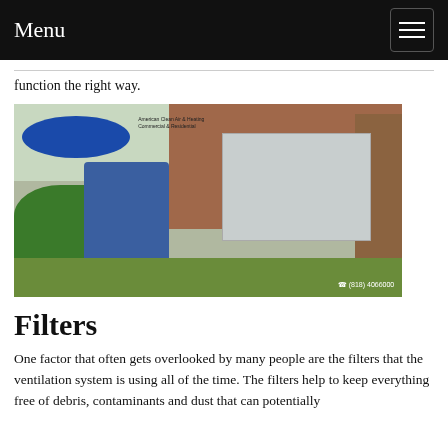Menu
function the right way.
[Figure (photo): HVAC technician in blue shirt crouching next to a Carrier air conditioning unit outside a brick house with wooden fence. Logo reads American Clean Air & Heating Commercial & Residential. Phone number (818) 4066000 visible.]
Filters
One factor that often gets overlooked by many people are the filters that the ventilation system is using all of the time. The filters help to keep everything free of debris, contaminants and dust that can potentially